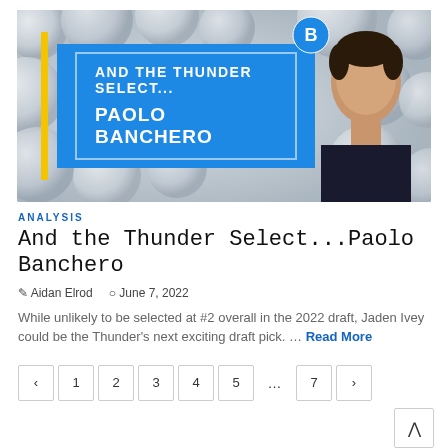[Figure (photo): Hero image for article 'And the Thunder Select...Paolo Banchero'. Blue overlay box on grey ball background with text 'AND THE THUNDER SELECT...' and 'PAOLO BANCHERO' in white bold uppercase. Yellow vertical stripe on left. Player's face visible on right side.]
ANALYSIS
And the Thunder Select...Paolo Banchero
Aidan Elrod   June 7, 2022
While unlikely to be selected at #2 overall in the 2022 draft, Jaden Ivey could be the Thunder's next exciting draft pick. ... Read More